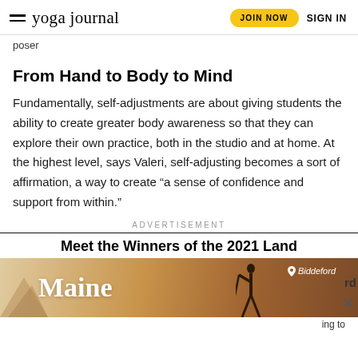yoga journal | JOIN NOW | SIGN IN
poser
From Hand to Body to Mind
Fundamentally, self-adjustments are about giving students the ability to create greater body awareness so that they can explore their own practice, both in the studio and at home. At the highest level, says Valeri, self-adjusting becomes a sort of affirmation, a way to create “a sense of confidence and support from within.”
ADVERTISEMENT
Meet the Winners of the 2021 Land
[Figure (photo): Advertisement banner for Maine travel featuring the word 'Maine' in large white text with a silhouette of a person holding a surfboard, location pin showing Biddeford, and a mountain/landscape in the left corner.]